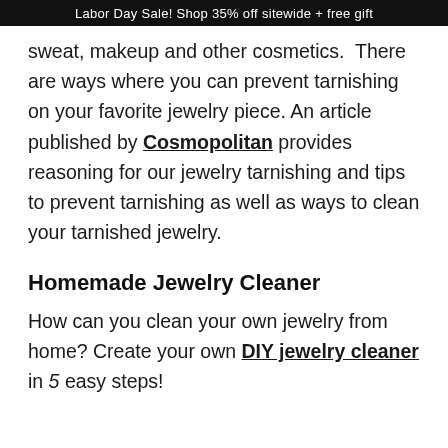Labor Day Sale! Shop 35% off sitewide + free gift
sweat, makeup and other cosmetics. There are ways where you can prevent tarnishing on your favorite jewelry piece. An article published by Cosmopolitan provides reasoning for our jewelry tarnishing and tips to prevent tarnishing as well as ways to clean your tarnished jewelry.
Homemade Jewelry Cleaner
How can you clean your own jewelry from home? Create your own DIY jewelry cleaner in 5 easy steps!